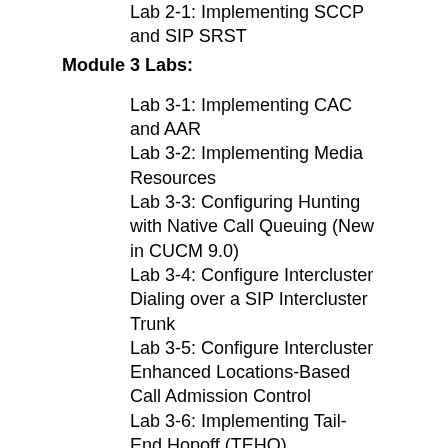Lab 2-1: Implementing SCCP and SIP SRST
Module 3 Labs:
Lab 3-1: Implementing CAC and AAR
Lab 3-2: Implementing Media Resources
Lab 3-3: Configuring Hunting with Native Call Queuing (New in CUCM 9.0)
Lab 3-4: Configure Intercluster Dialing over a SIP Intercluster Trunk
Lab 3-5: Configure Intercluster Enhanced Locations-Based Call Admission Control
Lab 3-6: Implementing Tail-End Hopoff (TEHO)
Module 4 Labs:
Configure LDAP Integration
Implementing Extension